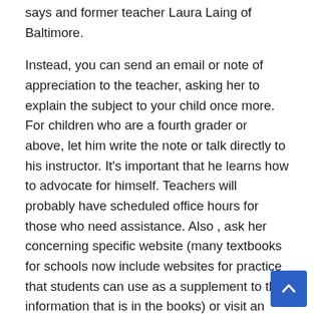says and former teacher Laura Laing of Baltimore.
Instead, you can send an email or note of appreciation to the teacher, asking her to explain the subject to your child once more. For children who are a fourth grader or above, let him write the note or talk directly to his instructor. It's important that he learns how to advocate for himself. Teachers will probably have scheduled office hours for those who need assistance. Also , ask her concerning specific website (many textbooks for schools now include websites for practice that students can use as a supplement to the information that is in the books) or visit an online tutoring platform like with apps to use with your iPad,